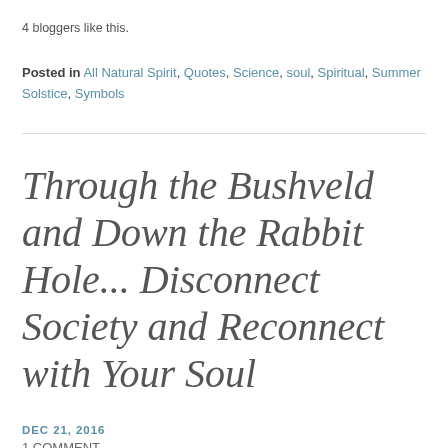4 bloggers like this.
Posted in All Natural Spirit, Quotes, Science, soul, Spiritual, Summer Solstice, Symbols
Through the Bushveld and Down the Rabbit Hole... Disconnect Society and Reconnect with Your Soul
DEC 21, 2016
1 COMMENT